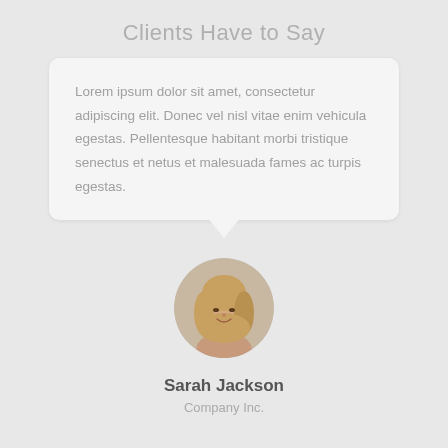Clients Have to Say
Lorem ipsum dolor sit amet, consectetur adipiscing elit. Donec vel nisl vitae enim vehicula egestas. Pellentesque habitant morbi tristique senectus et netus et malesuada fames ac turpis egestas.
[Figure (photo): Circular avatar photo of a smiling woman with blonde hair]
Sarah Jackson
Company Inc.